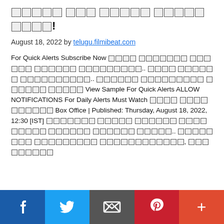████ ███ ████: ████ ██████████!
August 18, 2022 by telugu.filmibeat.com
For Quick Alerts Subscribe Now ████ ███████ ██████ ██████ █████████.. ████ ██████ ██████████.. ██████ █████████ ██████ █████ View Sample For Quick Alerts ALLOW NOTIFICATIONS For Daily Alerts Must Watch ████ ██████████ Box Office | Published: Thursday, August 18, 2022, 12:30 [IST] ███████ █████ ██████ █████████ ██████ ██████ █████.. ████████ █████████ ████████████, █████████
[Figure (infographic): Social sharing bar with Facebook, Twitter, Email, Pinterest, and More buttons]